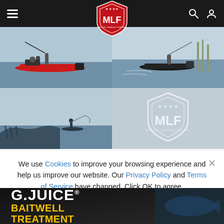[Figure (screenshot): MLF (Major League Fishing) website screenshot showing navigation bar with hamburger menu, MLF shield logo, search and user icons on dark background]
[Figure (photo): Four-panel photo grid of bass fishing scenes: top-left shows anglers on a fishing boat on calm water, top-right shows a fishing boat moving through water with reeds, bottom-left shows a silhouette of a small boat at dusk, bottom-right shows the MLF shield logo on a gray background]
We use Cookies to improve your browsing experience and help us improve our website. Our Privacy Policy and Terms of Service have changed. Click OK to agree.
[Figure (other): Red OK button for cookie consent]
[Figure (other): G.JUICE BAITWELL TREATMENT advertisement banner]